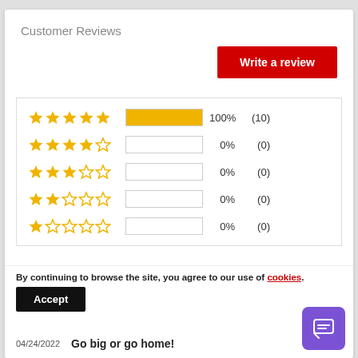Customer Reviews
Write a review
[Figure (bar-chart): Star rating distribution]
By continuing to browse the site, you agree to our use of cookies.
Accept
04/24/2022
Go big or go home!